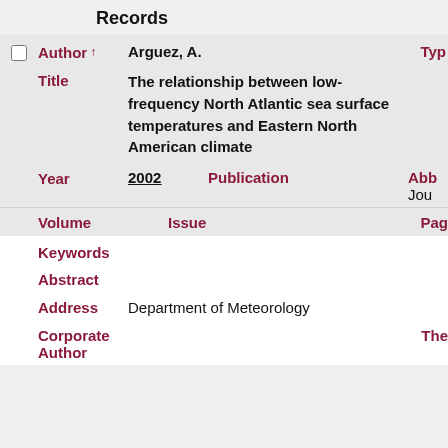Records
| Field | Value |
| --- | --- |
| Author ↑ | Arguez, A. |
| Title | The relationship between low-frequency North Atlantic sea surface temperatures and Eastern North American climate |
| Year | 2002 |
| Publication |  |
| Volume |  |
| Issue |  |
| Keywords |  |
| Abstract |  |
| Address | Department of Meteorology |
| Corporate Author |  |